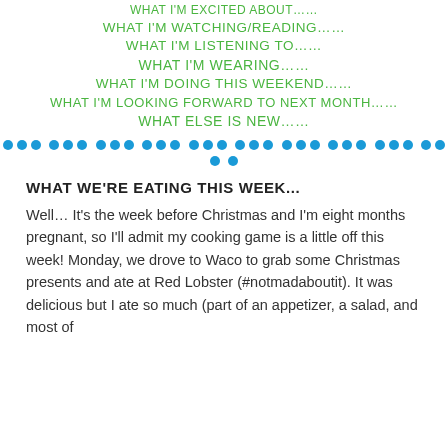WHAT I'M EXCITED ABOUT……
WHAT I'M WATCHING/READING……
WHAT I'M LISTENING TO……
WHAT I'M WEARING……
WHAT I'M DOING THIS WEEKEND……
WHAT I'M LOOKING FORWARD TO NEXT MONTH……
WHAT ELSE IS NEW……
[Figure (infographic): A row of blue dots as a decorative divider]
WHAT WE'RE EATING THIS WEEK...
Well… It's the week before Christmas and I'm eight months pregnant, so I'll admit my cooking game is a little off this week! Monday, we drove to Waco to grab some Christmas presents and ate at Red Lobster (#notmadaboutit). It was delicious but I ate so much (part of an appetizer, a salad, and most of